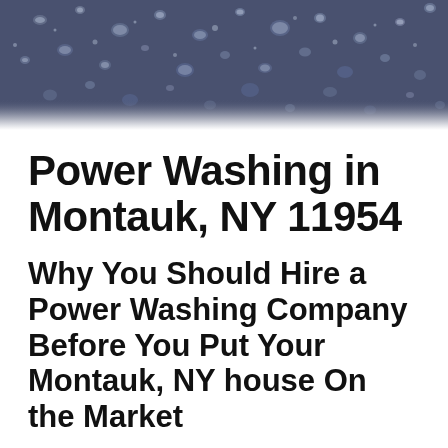[Figure (photo): Close-up photo of water droplets on a dark blue/grey surface, resembling wet glass or metal, used as a decorative hero banner image for a power washing service page.]
Power Washing in Montauk, NY 11954
Why You Should Hire a Power Washing Company Before You Put Your Montauk, NY house On the Market
When it comes to cleaning the exterior surfaces of residential and commercial properties in